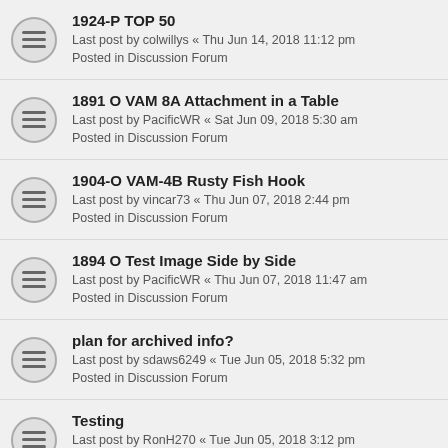1924-P TOP 50
Last post by colwillys « Thu Jun 14, 2018 11:12 pm
Posted in Discussion Forum
1891 O VAM 8A Attachment in a Table
Last post by PacificWR « Sat Jun 09, 2018 5:30 am
Posted in Discussion Forum
1904-O VAM-4B Rusty Fish Hook
Last post by vincar73 « Thu Jun 07, 2018 2:44 pm
Posted in Discussion Forum
1894 O Test Image Side by Side
Last post by PacificWR « Thu Jun 07, 2018 11:47 am
Posted in Discussion Forum
plan for archived info?
Last post by sdaws6249 « Tue Jun 05, 2018 5:32 pm
Posted in Discussion Forum
Testing
Last post by RonH270 « Tue Jun 05, 2018 3:12 pm
Posted in Discussion Forum